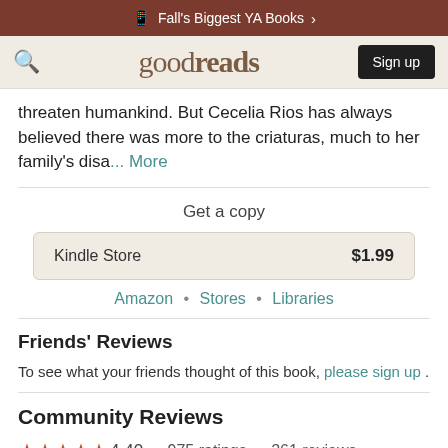Fall's Biggest YA Books >
goodreads  Sign up
threaten humankind. But Cecelia Rios has always believed there was more to the criaturas, much to her family's disa... More
Get a copy
| Store | Price |
| --- | --- |
| Kindle Store | $1.99 |
Amazon • Stores • Libraries
Friends' Reviews
To see what your friends thought of this book, please sign up .
Community Reviews
★★★★½  4.40  ·  975 ratings  ·  261 reviews
English (250)